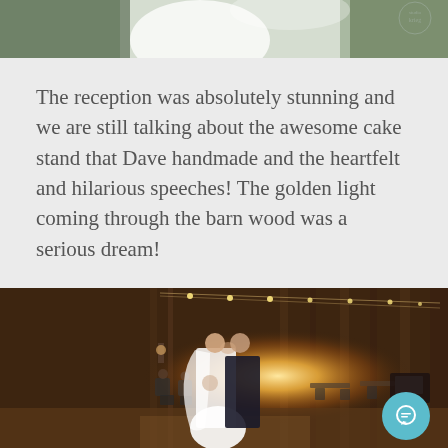[Figure (photo): Top portion of a wedding photo showing a bride in white dress and veil, with greenery/flowers in background, partially cropped]
The reception was absolutely stunning and we are still talking about the awesome cake stand that Dave handmade and the heartfelt and hilarious speeches! The golden light coming through the barn wood was a serious dream!
[Figure (photo): Wedding first dance photo inside a rustic barn with string lights, bride in white gown with veil and groom in dark suit, glowing light in background, guests seated around the dance floor]